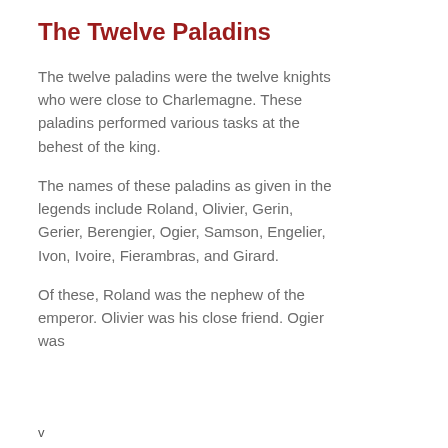The Twelve Paladins
The twelve paladins were the twelve knights who were close to Charlemagne. These paladins performed various tasks at the behest of the king.
The names of these paladins as given in the legends include Roland, Olivier, Gerin, Gerier, Berengier, Ogier, Samson, Engelier, Ivon, Ivoire, Fierambras, and Girard.
Of these, Roland was the nephew of the emperor. Olivier was his close friend. Ogier was
v